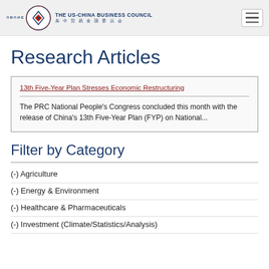THE US-CHINA BUSINESS COUNCIL 美中贸易全国委员会
Research Articles
13th Five-Year Plan Stresses Economic Restructuring
The PRC National People's Congress concluded this month with the release of China's 13th Five-Year Plan (FYP) on National...
Filter by Category
(-) Agriculture
(-) Energy & Environment
(-) Healthcare & Pharmaceuticals
(-) Investment (Climate/Statistics/Analysis)